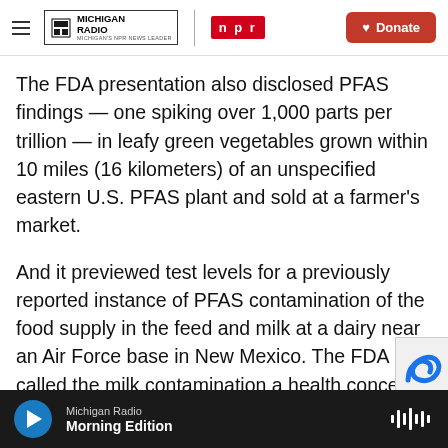Michigan Radio | NPR — Donate
The FDA presentation also disclosed PFAS findings — one spiking over 1,000 parts per trillion — in leafy green vegetables grown within 10 miles (16 kilometers) of an unspecified eastern U.S. PFAS plant and sold at a farmer's market.
And it previewed test levels for a previously reported instance of PFAS contamination of the food supply in the feed and milk at a dairy near an Air Force base in New Mexico. The FDA called the milk contamination a health concern.
FDA researchers discussed the results at a
Michigan Radio — Morning Edition